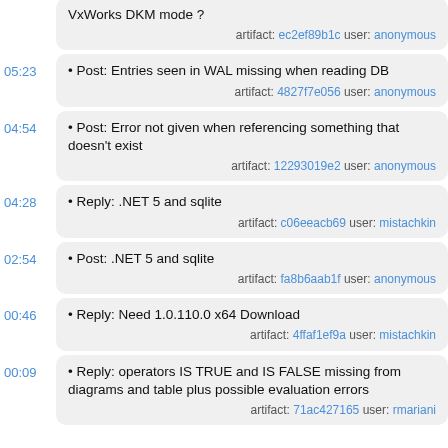05:23 • Post: Entries seen in WAL missing when reading DB  artifact: 4827f7e056 user: anonymous
04:54 • Post: Error not given when referencing something that doesn't exist  artifact: 12293019e2 user: anonymous
04:28 • Reply: .NET 5 and sqlite  artifact: c06eeacb69 user: mistachkin
02:54 • Post: .NET 5 and sqlite  artifact: fa8b6aab1f user: anonymous
00:46 • Reply: Need 1.0.110.0 x64 Download  artifact: 4ffaf1ef9a user: mistachkin
00:09 • Reply: operators IS TRUE and IS FALSE missing from diagrams and table plus possible evaluation errors  artifact: 71ac427165 user: rmariani